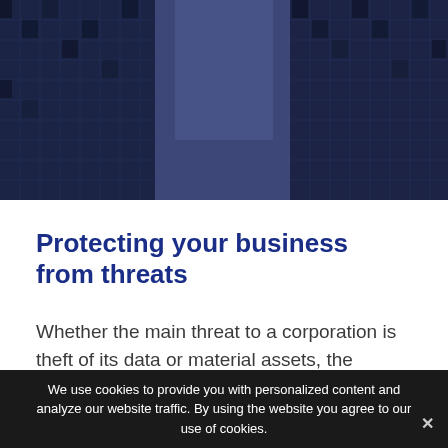[Figure (photo): Aerial view looking up at tall glass skyscrapers with blue-tinted windows against a dark sky, creating a dramatic architectural perspective]
Protecting your business from threats
Whether the main threat to a corporation is theft of its data or material assets, the personal security of its executives and employees, or 3rd party elements which might be hostile to the corporation's interests, the cost of inaction is
We use cookies to provide you with personalized content and analyze our website traffic. By using the website you agree to our use of cookies.